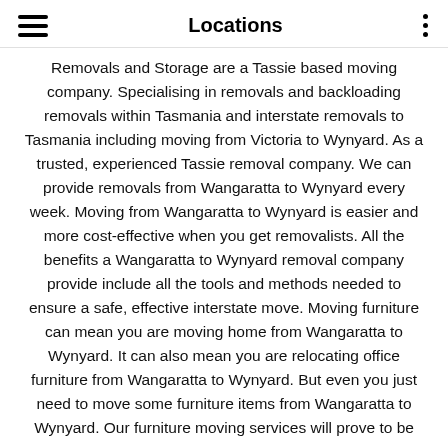Locations
Removals and Storage are a Tassie based moving company. Specialising in removals and backloading removals within Tasmania and interstate removals to Tasmania including moving from Victoria to Wynyard. As a trusted, experienced Tassie removal company. We can provide removals from Wangaratta to Wynyard every week. Moving from Wangaratta to Wynyard is easier and more cost-effective when you get removalists. All the benefits a Wangaratta to Wynyard removal company provide include all the tools and methods needed to ensure a safe, effective interstate move. Moving furniture can mean you are moving home from Wangaratta to Wynyard. It can also mean you are relocating office furniture from Wangaratta to Wynyard. But even you just need to move some furniture items from Wangaratta to Wynyard. Our furniture moving services will prove to be